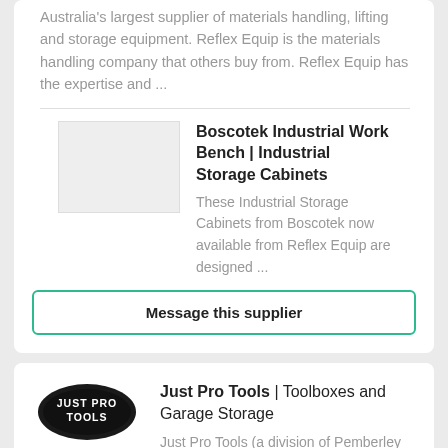Australia's largest supplier of materials handling, lifting and storage equipment. Reflex Equip is the materials handling company that others buy from. Reflex Equip has the expertise and ...
Boscotek Industrial Work Bench | Industrial Storage Cabinets
These Industrial Storage Cabinets from Boscotek now available from Reflex Equip are designed ...
Message this supplier
[Figure (logo): Just Pro Tools logo — black oval badge with white text 'JUST PRO TOOLS']
Just Pro Tools | Toolboxes and Garage Storage
Just Pro Tools (a division of Pemberley Investments Pty Ltd) is the leading online retailer of toolboxes and garage storage. We specialise in professional quality tool boxes for